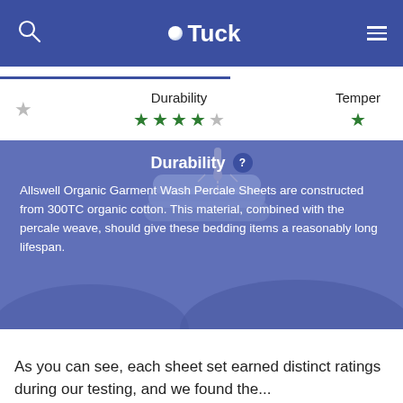Tuck
Durability
★★★★☆ (4 out of 5 stars)
Temper
★ (partial)
[Figure (illustration): Blue card with illustrated folded sheets/blankets being tested with a dropper, decorative wave shapes at bottom]
Durability ?
Allswell Organic Garment Wash Percale Sheets are constructed from 300TC organic cotton. This material, combined with the percale weave, should give these bedding items a reasonably long lifespan.
As you can see, each sheet set earned distinct ratings during our testing, and we found the...